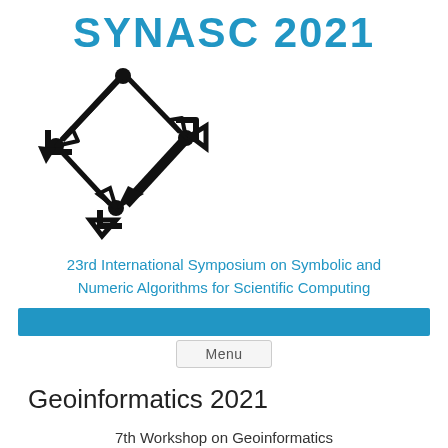SYNASC 2021
[Figure (logo): SYNASC logo with arrows forming a circular pattern, with bullet nodes at connection points]
23rd International Symposium on Symbolic and Numeric Algorithms for Scientific Computing
[Figure (other): Blue navigation bar]
Menu
Geoinformatics 2021
7th Workshop on Geoinformatics
in the framework of